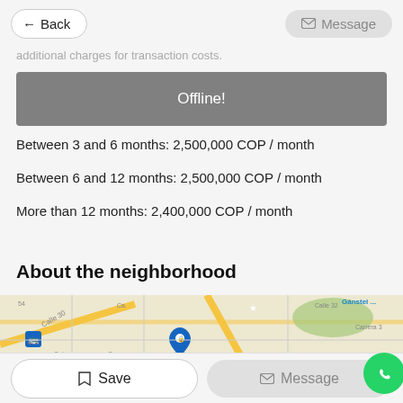← Back | Message
additional charges for transaction costs.
Offline!
Between 3 and 6 months: 2,500,000 COP / month
Between 6 and 12 months: 2,500,000 COP / month
More than 12 months: 2,400,000 COP / month
About the neighborhood
[Figure (map): Street map showing Calle 30, Calle 32, Carrera 3, with a blue location pin and transit icon, partial map view]
Save | Message